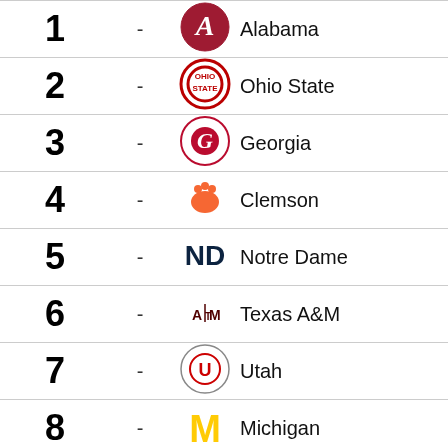| Rank | Change | Logo | Team |
| --- | --- | --- | --- |
| 1 | - | Alabama logo | Alabama |
| 2 | - | Ohio State logo | Ohio State |
| 3 | - | Georgia logo | Georgia |
| 4 | - | Clemson logo | Clemson |
| 5 | - | Notre Dame logo | Notre Dame |
| 6 | - | Texas A&M logo | Texas A&M |
| 7 | - | Utah logo | Utah |
| 8 | - | Michigan logo | Michigan |